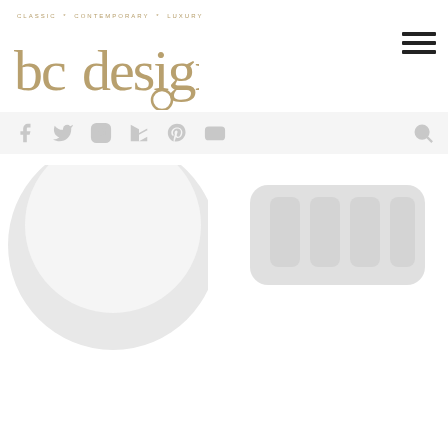CLASSIC * CONTEMPORARY * LUXURY
bcdesigns
[Figure (logo): BC Designs logo with 'bcdesigns' in gold/tan serif-style font with circular loop on the 'g']
[Figure (screenshot): Hamburger menu icon (three horizontal lines) in dark color, top right corner]
[Figure (screenshot): Social media icons bar: Facebook, Twitter, Instagram, Houzz, Pinterest, YouTube icons in light grey]
[Figure (screenshot): Search icon (magnifying glass) in light grey, right side of social bar]
[Figure (photo): Partial view of a white freestanding bath/basin, light grey tones, lower portion of circular shape visible]
[Figure (photo): Partial view of white bathroom fittings/taps, light grey tones, upper right area of page]